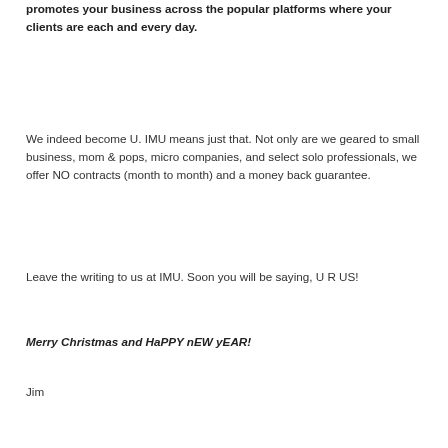promotes your business across the popular platforms where your clients are each and every day.
We indeed become U. IMU means just that. Not only are we geared to small business, mom & pops, micro companies, and select solo professionals, we offer NO contracts (month to month) and a money back guarantee.
Leave the writing to us at IMU. Soon you will be saying, U R US!
Merry Christmas and HaPPY nEW yEAR!
Jim